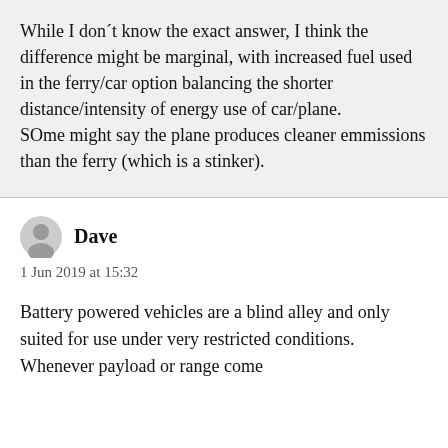While I don´t know the exact answer, I think the difference might be marginal, with increased fuel used in the ferry/car option balancing the shorter distance/intensity of energy use of car/plane.
SOme might say the plane produces cleaner emmissions than the ferry (which is a stinker).
Dave
1 Jun 2019 at 15:32
Battery powered vehicles are a blind alley and only suited for use under very restricted conditions. Whenever payload or range come